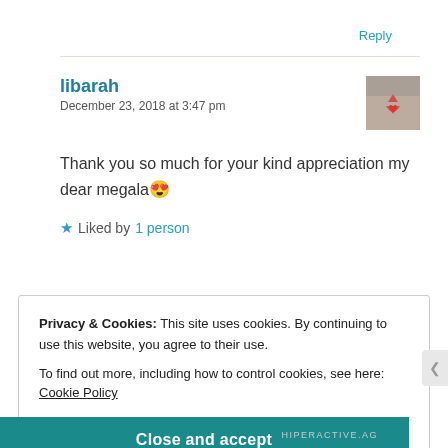Reply
libarah
December 23, 2018 at 3:47 pm
Thank you so much for your kind appreciation my dear megala😍
★ Liked by 1 person
Privacy & Cookies: This site uses cookies. By continuing to use this website, you agree to their use.
To find out more, including how to control cookies, see here: Cookie Policy
Close and accept